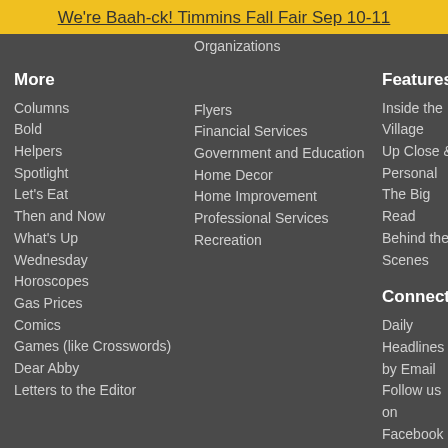We're Baah-ck! Timmins Fall Fair Sep 10-11
Organizations
More
Columns
Bold
Helpers
Spotlight
Let's Eat
Then and Now
What's Up
Wednesday
Horoscopes
Gas Prices
Comics
Games (like Crosswords)
Dear Abby
Letters to the Editor
Flyers
Financial Services
Government and Education
Home Decor
Home Improvement
Professional Services
Recreation
Features
Inside the Village
Up Close & Personal
The Big Read
Behind the Scenes
Connect
Daily Headlines by Email
Follow us on Facebook
Follow us on Twitter
Support Local News
[Figure (infographic): Advertisement: LET'S TALK ABOUT YOUR NEXT MORTGAGE. There for you, like family. TRUE NORTH STRONG badge on right side.]